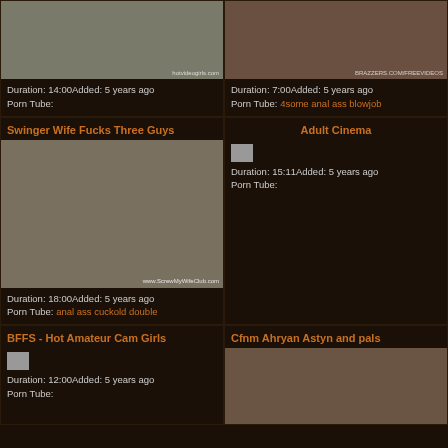[Figure (photo): Thumbnail of women standing]
Duration: 14:00Added: 5 years ago
Porn Tube:
[Figure (photo): Thumbnail of gym scene]
Duration: 7:00Added: 5 years ago
Porn Tube: 4some anal ass blowjob
Swinger Wife Fucks Three Guys
[Figure (photo): Thumbnail of swinger scene on couch]
Duration: 18:00Added: 5 years ago
Porn Tube: anal ass cuckold double
Adult Cinema
[Figure (photo): Small broken thumbnail image]
Duration: 15:11Added: 5 years ago
Porn Tube:
BFFS - Hot Amateur Cam Girls
[Figure (photo): Small broken thumbnail image]
Duration: 12:00Added: 5 years ago
Porn Tube:
Cfnm Ahryan Astyn and pals
[Figure (photo): Thumbnail of cfnm scene]